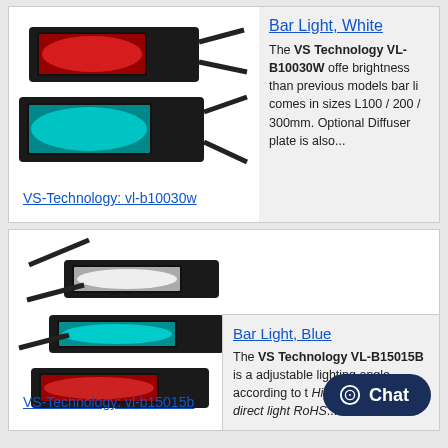[Figure (photo): Two bar lights (LED) from VS Technology - one showing red LEDs and one showing blue/cyan LEDs, black housing]
Bar Light, White
The VS Technology VL-B10030W offers brightness than previous models bar lights comes in sizes L100 / 200 / 300mm. Optional Diffuser plate is also...
VS-Technology: vl-b10030w
[Figure (photo): Three bar lights from VS Technology showing white, cyan/blue, and red LED variants in black rectangular housings with cables]
Bar Light, Blue
The VS Technology VL-B15015B is adjustable lighting angle according to the High Brightness with direct light RoHS...
VS-Technology: vl-b15015b